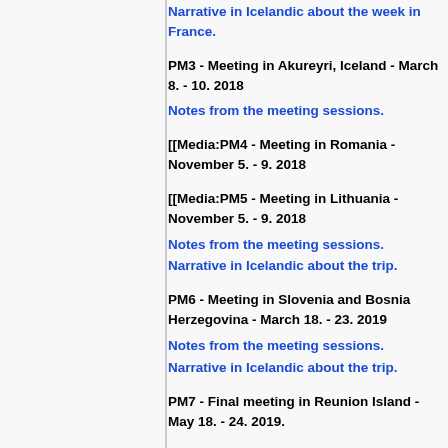Narrative in Icelandic about the week in France.
PM3 - Meeting in Akureyri, Iceland - March 8. - 10. 2018
Notes from the meeting sessions.
[[Media:PM4 - Meeting in Romania - November 5. - 9. 2018
[[Media:PM5 - Meeting in Lithuania - November 5. - 9. 2018
Notes from the meeting sessions.
Narrative in Icelandic about the trip.
PM6 - Meeting in Slovenia and Bosnia Herzegovina - March 18. - 23. 2019
Notes from the meeting sessions.
Narrative in Icelandic about the trip.
PM7 - Final meeting in Reunion Island - May 18. - 24. 2019.